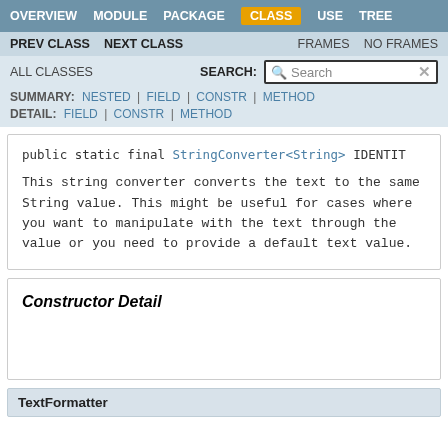OVERVIEW MODULE PACKAGE CLASS USE TREE
PREV CLASS NEXT CLASS FRAMES NO FRAMES
ALL CLASSES SEARCH:
SUMMARY: NESTED | FIELD | CONSTR | METHOD DETAIL: FIELD | CONSTR | METHOD
public static final StringConverter<String> IDENTIT
This string converter converts the text to the same String value. This might be useful for cases where you want to manipulate with the text through the value or you need to provide a default text value.
Constructor Detail
TextFormatter